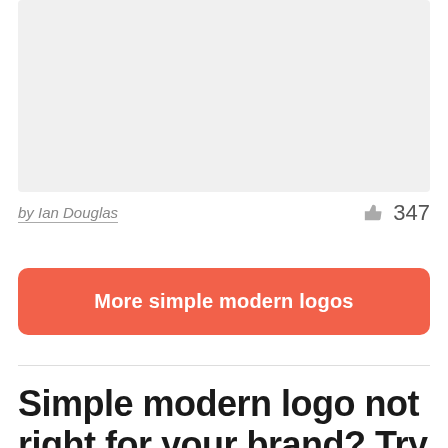[Figure (other): Light gray placeholder image area]
by Ian Douglas
347
More simple modern logos
Simple modern logo not right for your brand? Try